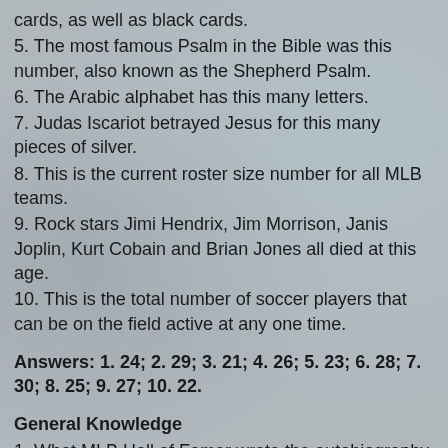cards, as well as black cards.
5. The most famous Psalm in the Bible was this number, also known as the Shepherd Psalm.
6. The Arabic alphabet has this many letters.
7. Judas Iscariot betrayed Jesus for this many pieces of silver.
8. This is the current roster size number for all MLB teams.
9. Rock stars Jimi Hendrix, Jim Morrison, Janis Joplin, Kurt Cobain and Brian Jones all died at this age.
10. This is the total number of soccer players that can be on the field active at any one time.
Answers: 1. 24; 2. 29; 3. 21; 4. 26; 5. 23; 6. 28; 7. 30; 8. 25; 9. 27; 10. 22.
General Knowledge
1. What MLB Hall of Famer wrote the autobiography, "Say Hey?" ( 1 pt)
2. What time zone is Denver, CO found in? ( 1 pt)
3. In 1848, what was famously discovered at Sutter's Mill in California? ( 1 pt)
4. Joseph Smith founded what religion in the early 19th